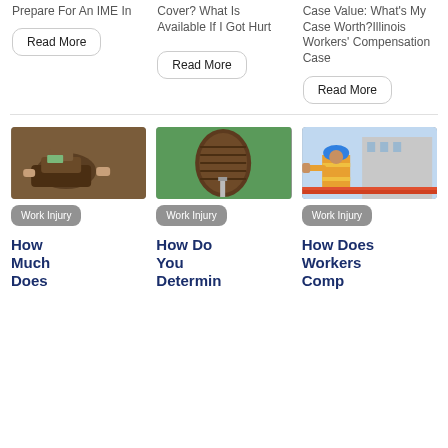Prepare For An IME In
Cover? What Is Available If I Got Hurt
Case Value: What's My Case Worth?Illinois Workers' Compensation Case
Read More
Read More
Read More
[Figure (photo): Hands holding an empty wallet]
Work Injury
How Much Does
[Figure (photo): Bottom of a boot/shoe with a nail through it]
Work Injury
How Do You Determin
[Figure (photo): Construction worker in orange vest and blue helmet]
Work Injury
How Does Workers Comp